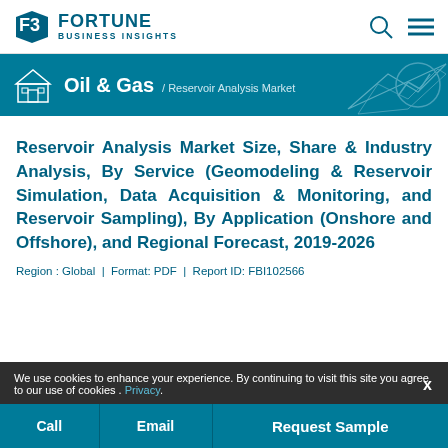[Figure (logo): Fortune Business Insights logo with stylized F/B icon and teal text]
[Figure (illustration): Teal banner with house icon, Oil & Gas category label, and breadcrumb: / Reservoir Analysis Market, with decorative polygon/chart graphics on right]
Reservoir Analysis Market Size, Share & Industry Analysis, By Service (Geomodeling & Reservoir Simulation, Data Acquisition & Monitoring, and Reservoir Sampling), By Application (Onshore and Offshore), and Regional Forecast, 2019-2026
Region : Global | Format: PDF | Report ID: FBI102566
We use cookies to enhance your experience. By continuing to visit this site you agree to our use of cookies . Privacy.
Call | Email | Request Sample